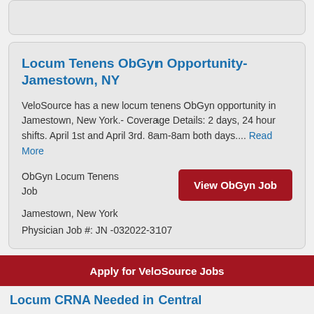Locum Tenens ObGyn Opportunity- Jamestown, NY
VeloSource has a new locum tenens ObGyn opportunity in Jamestown, New York.- Coverage Details: 2 days, 24 hour shifts. April 1st and April 3rd. 8am-8am both days.... Read More
ObGyn Locum Tenens Job
Jamestown, New York
Physician Job #: JN -032022-3107
Apply for VeloSource Jobs
Locum CRNA Needed in Central